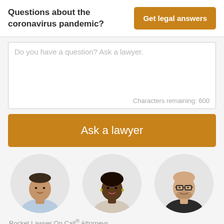Questions about the coronavirus pandemic?
Get legal answers
Do you have a question? Ask a lawyer.
Characters remaining: 600
Ask a lawyer
[Figure (photo): Three circular portraits of attorneys — a Hispanic man in a light blue shirt, a Black woman with short dark hair, and a bald white man with glasses and a beard]
Rocket Lawyer On Call® Attorneys